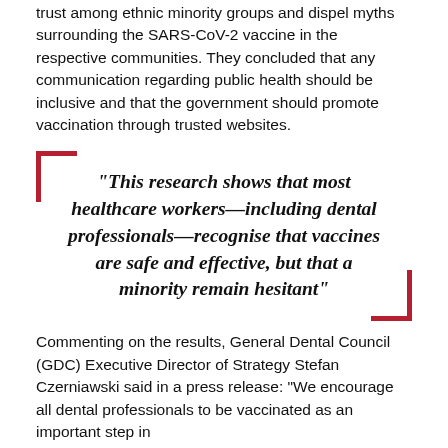trust among ethnic minority groups and dispel myths surrounding the SARS-CoV-2 vaccine in the respective communities. They concluded that any communication regarding public health should be inclusive and that the government should promote vaccination through trusted websites.
“This research shows that most healthcare workers—including dental professionals—recognise that vaccines are safe and effective, but that a minority remain hesitant”
Commenting on the results, General Dental Council (GDC) Executive Director of Strategy Stefan Czerniawski said in a press release: “We encourage all dental professionals to be vaccinated as an important step in